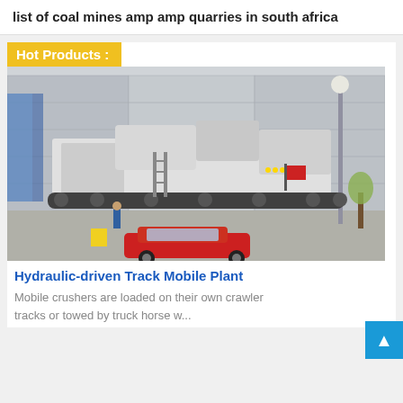list of coal mines amp amp quarries in south africa
Hot Products :
[Figure (photo): A large hydraulic-driven track mobile crushing plant (industrial machine on crawler tracks) parked outside a factory building. A red car is visible in the foreground, and a person stands nearby for scale. A street lamp and trees are visible in the background.]
Hydraulic-driven Track Mobile Plant
Mobile crushers are loaded on their own crawler tracks or towed by truck horse w...